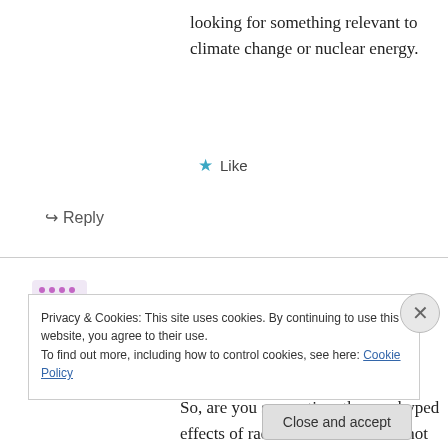looking for something relevant to climate change or nuclear energy.
★ Like
↪ Reply
Ms Perps on 2 May 2011 at 6:20 PM
@Podargus
So, are you suggesting, the overhyped effects of radiation on humans is not relevant to nuclear
Privacy & Cookies: This site uses cookies. By continuing to use this website, you agree to their use.
To find out more, including how to control cookies, see here: Cookie Policy
Close and accept